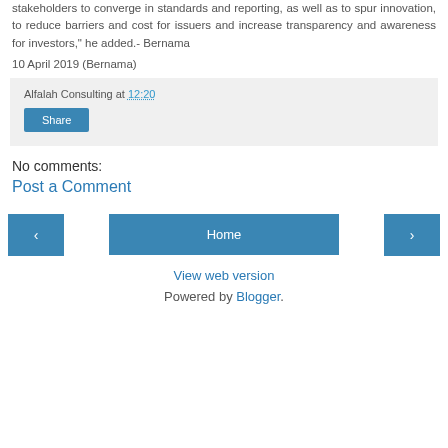stakeholders to converge in standards and reporting, as well as to spur innovation, to reduce barriers and cost for issuers and increase transparency and awareness for investors," he added.- Bernama
10 April 2019 (Bernama)
Alfalah Consulting at 12:20
Share
No comments:
Post a Comment
‹
Home
›
View web version
Powered by Blogger.